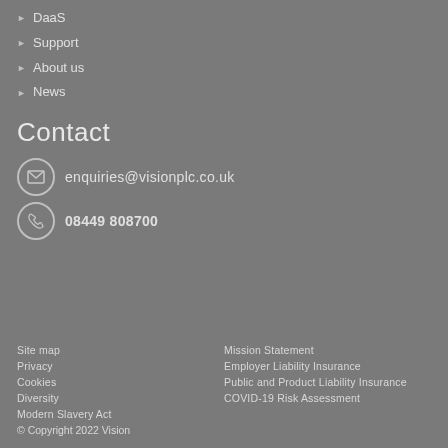DaaS
Support
About us
News
Contact
enquiries@visionplc.co.uk
08449 808700
Site map
Mission Statement
Privacy
Employer Liability Insurance
Cookies
Public and Product Liability Insurance
Diversity
COVID-19 Risk Assessment
Modern Slavery Act
© Copyright 2022 Vision